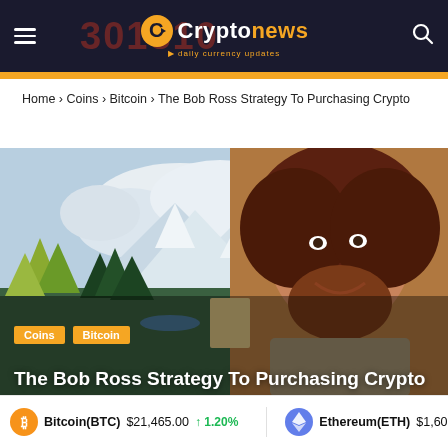Cryptonews · daily currency updates
Home › Coins › Bitcoin › The Bob Ross Strategy To Purchasing Crypto
[Figure (photo): Hero image showing Bob Ross-style AI-generated portrait with a landscape painting background featuring mountains, trees, and clouds. The subject has large curly auburn hair and a beard, smiling. Category tags 'Coins' and 'Bitcoin' appear in gold overlaid on the lower portion.]
The Bob Ross Strategy To Purchasing Crypto
Bitcoin(BTC) $21,465.00 ↑ 1.20%   Ethereum(ETH) $1,601.4